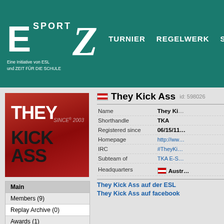E SPORT Z - Eine Initiative von ESL und ZEIT FÜR DIE SCHULE | TURNIER  REGELWERK  SCHU...
[Figure (logo): They Kick Ass team logo - red background with bold white text THEY and dark text KICKASS, with SINCE® 2003 text]
| Name | They Ki... |
| Shorthandle | TKA |
| Registered since | 06/15/11... |
| Homepage | http://ww... |
| IRC | #TheyKi... |
| Subteam of | TKA E-S... |
| Headquarters | Austria |
Main
Members (9)
Replay Archive (0)
Awards (1)
Rating
They Kick Ass auf der ESL
They Kick Ass auf facebook